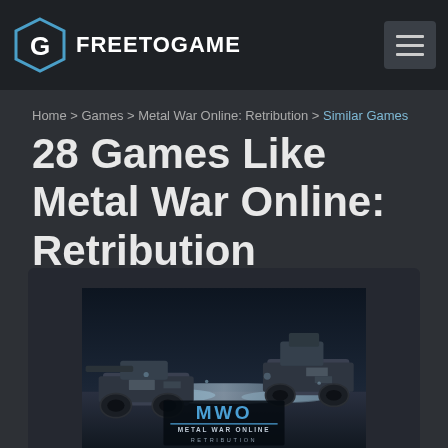FREETOGAME
Home > Games > Metal War Online: Retribution > Similar Games
28 Games Like Metal War Online: Retribution
[Figure (screenshot): Metal War Online: Retribution game banner showing armored vehicles (tanks and combat cars) in a dark, gritty battlefield scene with the MWO Metal War Online Retribution logo at the bottom]